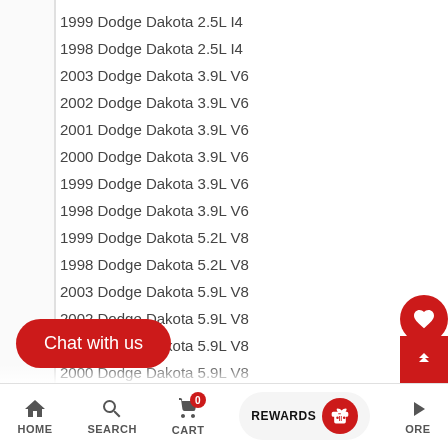1999 Dodge Dakota 2.5L I4
1998 Dodge Dakota 2.5L I4
2003 Dodge Dakota 3.9L V6
2002 Dodge Dakota 3.9L V6
2001 Dodge Dakota 3.9L V6
2000 Dodge Dakota 3.9L V6
1999 Dodge Dakota 3.9L V6
1998 Dodge Dakota 3.9L V6
1999 Dodge Dakota 5.2L V8
1998 Dodge Dakota 5.2L V8
2003 Dodge Dakota 5.9L V8
2002 Dodge Dakota 5.9L V8
2001 Dodge Dakota 5.9L V8
2000 Dodge Dakota 5.9L V8
1999 Dodge Dakota 5.9L V8
1998 Dodge Dakota 5.9L V8
1999 Dodge Durango 3.9L V6
1998 Dodge Durango 3.9L V6
Durango 5.2L V8
HOME   SEARCH   CART  0   REWARDS   MORE